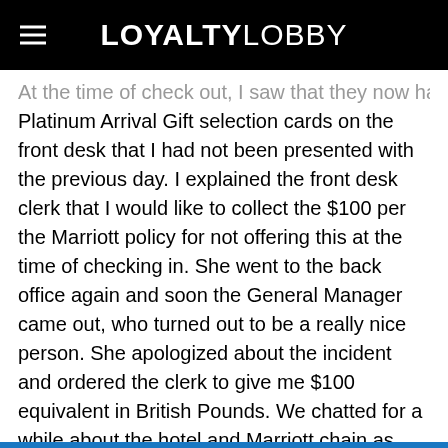LOYALTYLOBBY
At the time of check out, I saw that they now had printed Platinum Arrival Gift selection cards on the front desk that I had not been presented with the previous day. I explained the front desk clerk that I would like to collect the $100 per the Marriott policy for not offering this at the time of checking in. She went to the back office again and soon the General Manager came out, who turned out to be a really nice person. She apologized about the incident and ordered the clerk to give me $100 equivalent in British Pounds. We chatted for a while about the hotel and Marriott chain as overall.
Conclusion
My point here is that you need to be aware of the benefits that you are due. It is extremely unlikely that Marriott's front